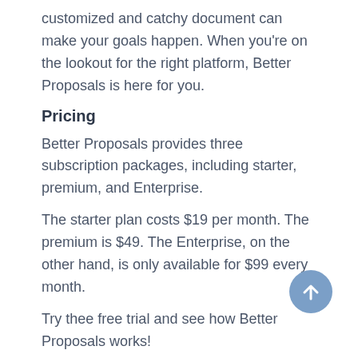customized and catchy document can make your goals happen. When you're on the lookout for the right platform, Better Proposals is here for you.
Pricing
Better Proposals provides three subscription packages, including starter, premium, and Enterprise.
The starter plan costs $19 per month. The premium is $49. The Enterprise, on the other hand, is only available for $99 every month.
Try thee free trial and see how Better Proposals works!
4. Qwilr